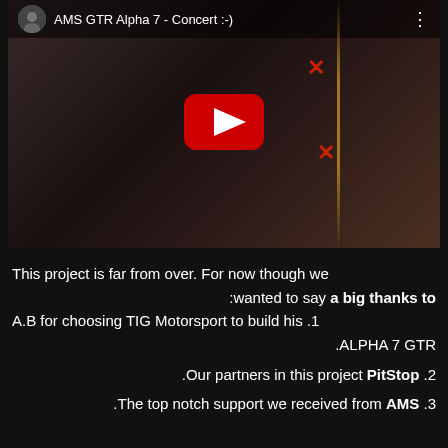[Figure (screenshot): YouTube video thumbnail showing 'AMS GTR Alpha 7 - Concert :-)' with a dark car background, red YouTube play button, channel icon, and decorative red X marks.]
This project is far from over. For now though we wanted to say a big thanks to: 1. A.B for choosing TIG Motorsport to build his #1 ALPHA 7 GTR. 2. Our partners in this project PitStop. 3. The top notch support we received from AMS.